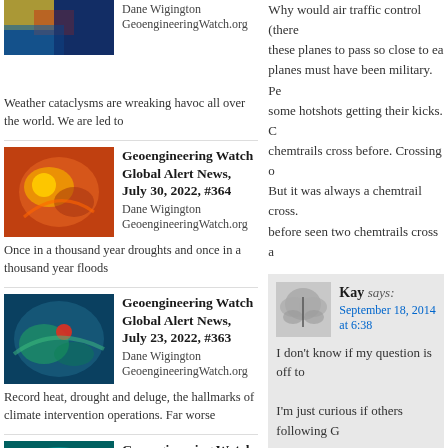[Figure (photo): Thumbnail satellite weather image]
Dane Wigington GeoengineeringWatch.org Weather cataclysms are wreaking havoc all over the world. We are led to
[Figure (photo): Thumbnail satellite storm image with orange and red colors]
Geoengineering Watch Global Alert News, July 30, 2022, #364
Dane Wigington GeoengineeringWatch.org Once in a thousand year droughts and once in a thousand year floods
[Figure (photo): Thumbnail satellite image with blue and green colors]
Geoengineering Watch Global Alert News, July 23, 2022, #363
Dane Wigington GeoengineeringWatch.org Record heat, drought and deluge, the hallmarks of climate intervention operations. Far worse
[Figure (photo): Thumbnail satellite image with teal and dark colors]
Geoengineering Watch Global Alert News, July 16, 2022, #362
Dane Wigington GeoengineeringWatch.org
Why would air traffic control (there these planes to pass so close to ea planes must have been military. Pe some hotshots getting their kicks. C chemtrails cross before. Crossing a But it was always a chemtrail cross before seen two chemtrails cross a
Kay says:
September 18, 2014 at 6:38
I don't know if my question is off to
I'm just curious if others following G
The People's Climate March (http:
September 21, 2014? http://watcho
Follow